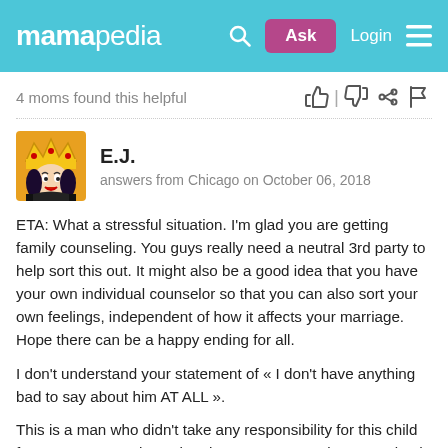mamapedia — Ask | Login
4 moms found this helpful
E.J.
answers from Chicago on October 06, 2018
ETA: What a stressful situation. I'm glad you are getting family counseling. You guys really need a neutral 3rd party to help sort this out. It might also be a good idea that you have your own individual counselor so that you can also sort your own feelings, independent of how it affects your marriage. Hope there can be a happy ending for all.
I don't understand your statement of « I don't have anything bad to say about him AT ALL ».
This is a man who didn't take any responsibility for this child for over 4 years! Then when he DEMANDS to be recognized as her father it